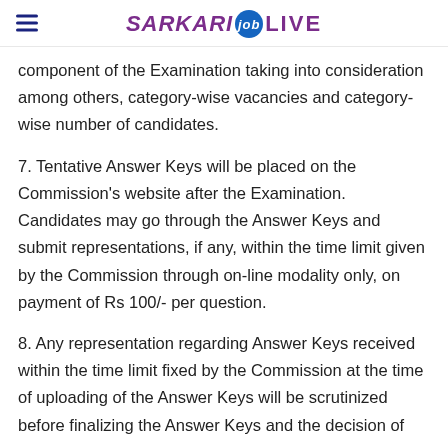SARKARI job LIVE
component of the Examination taking into consideration among others, category-wise vacancies and category-wise number of candidates.
7. Tentative Answer Keys will be placed on the Commission's website after the Examination. Candidates may go through the Answer Keys and submit representations, if any, within the time limit given by the Commission through on-line modality only, on payment of Rs 100/- per question.
8. Any representation regarding Answer Keys received within the time limit fixed by the Commission at the time of uploading of the Answer Keys will be scrutinized before finalizing the Answer Keys and the decision of